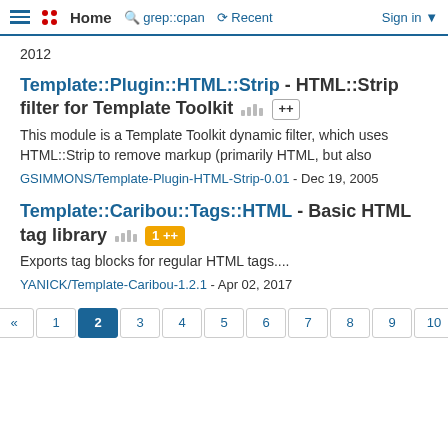Home | grep::cpan | Recent | Sign in
2012
Template::Plugin::HTML::Strip - HTML::Strip filter for Template Toolkit
This module is a Template Toolkit dynamic filter, which uses HTML::Strip to remove markup (primarily HTML, but also
GSIMMONS/Template-Plugin-HTML-Strip-0.01 - Dec 19, 2005
Template::Caribou::Tags::HTML - Basic HTML tag library
Exports tag blocks for regular HTML tags....
YANICK/Template-Caribou-1.2.1 - Apr 02, 2017
« 1 2 3 4 5 6 7 8 9 10